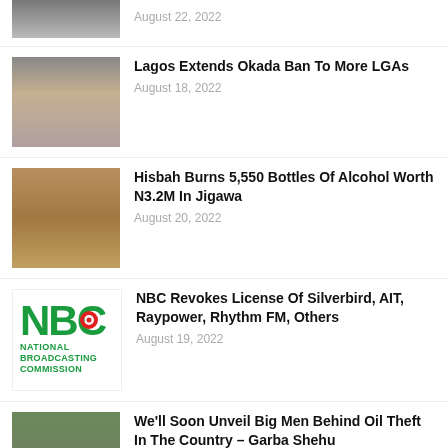[Figure (photo): Partial photo of people, cropped at top]
August 22, 2022
[Figure (photo): Group of motorcycles/okada riders]
Lagos Extends Okada Ban To More LGAs
August 18, 2022
[Figure (photo): Hisbah officers standing in uniform]
Hisbah Burns 5,550 Bottles Of Alcohol Worth N3.2M In Jigawa
August 20, 2022
[Figure (logo): NBC National Broadcasting Commission logo]
NBC Revokes License Of Silverbird, AIT, Raypower, Rhythm FM, Others
August 19, 2022
[Figure (photo): Portrait of Garba Shehu smiling]
We'll Soon Unveil Big Men Behind Oil Theft In The Country – Garba Shehu
August 20, 2022
[Figure (photo): Armed bandit commander photo]
Top Bandit Commander Set To Marry Young Victim Of Abuja-Kaduna Train Attack – Negotiator